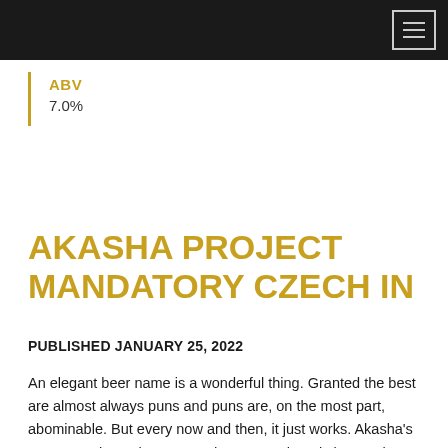ABV
7.0%
AKASHA PROJECT MANDATORY CZECH IN
PUBLISHED JANUARY 25, 2022
An elegant beer name is a wonderful thing. Granted the best are almost always puns and puns are, on the most part, abominable. But every now and then, it just works. Akasha's newest project release, Mandatory Czech In, is just such a name. Every single pale lager in the world can pretty much trace its lineage back to the Czech or Bohemian pilsner. First brewed in the 1840s in